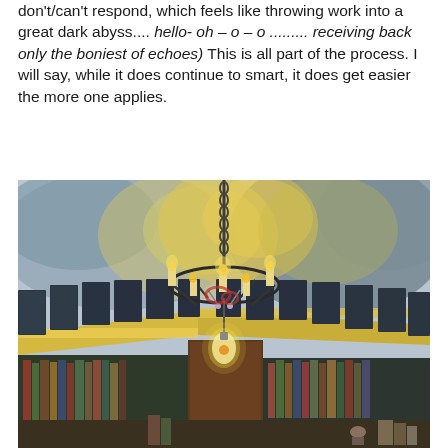don't/can't respond, which feels like throwing work into a great dark abyss.... hello- oh  –  o  –  o  ......... receiving back only the boniest of echoes)  This is all part of the process.  I will say, while it does continue to smart, it does get easier the more one applies.
[Figure (illustration): Watercolor illustration of an interior library or study viewed from above, featuring a decorative chandelier with candles and a glowing Edison-style bulb hanging from a chain in the center, surrounded by bookshelves along the walls with dark-framed windows above them, rendered in blues, grays, yellows, and browns.]